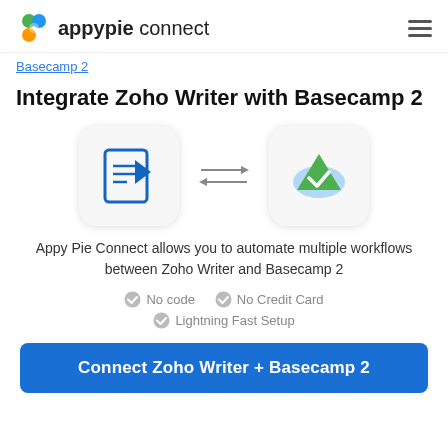appypie connect
Basecamp 2
Integrate Zoho Writer with Basecamp 2
[Figure (illustration): Zoho Writer icon and Basecamp 2 icon with bidirectional arrows between them]
Appy Pie Connect allows you to automate multiple workflows between Zoho Writer and Basecamp 2
No code
No Credit Card
Lightning Fast Setup
Connect Zoho Writer + Basecamp 2